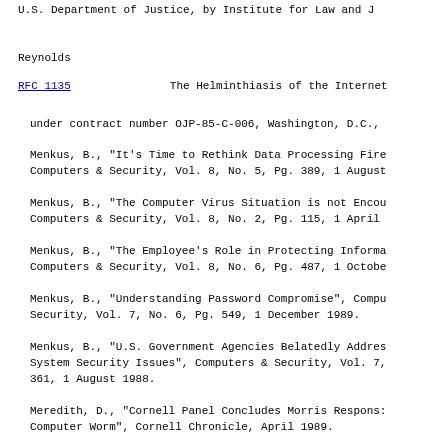U.S. Department of Justice, by Institute for Law and J
Reynolds
RFC 1135        The Helminthiasis of the Internet
under contract number OJP-85-C-006, Washington, D.C.,
Menkus, B., "It's Time to Rethink Data Processing Fire
Computers & Security, Vol. 8, No. 5, Pg. 389, 1 August
Menkus, B., "The Computer Virus Situation is not Encou
Computers & Security, Vol. 8, No. 2, Pg. 115, 1 April
Menkus, B., "The Employee's Role in Protecting Informa
Computers & Security, Vol. 8, No. 6, Pg. 487, 1 Octobe
Menkus, B., "Understanding Password Compromise", Compu
Security, Vol. 7, No. 6, Pg. 549, 1 December 1989.
Menkus, B., "U.S. Government Agencies Belatedly Addres
System Security Issues", Computers & Security, Vol. 7,
361, 1 August 1988.
Meredith, D., "Cornell Panel Concludes Morris Respons:
Computer Worm", Cornell Chronicle, April 1989.